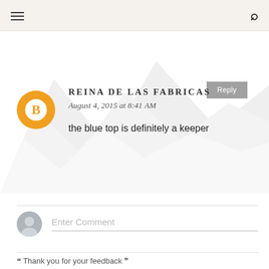Navigation bar with hamburger menu and search icon
Reply
REINA DE LAS FABRICAS
August 4, 2015 at 8:41 AM
the blue top is definitely a keeper
Reply
Enter Comment
❝ Thank you for your feedback ❞